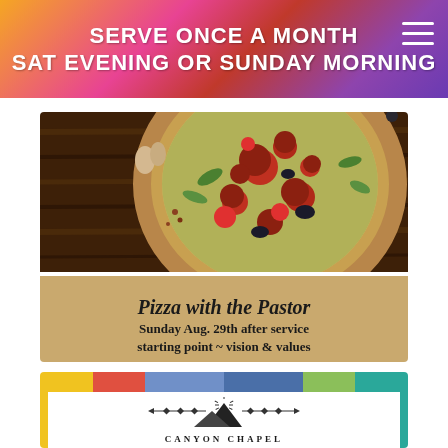[Figure (infographic): Colorful geometric banner with text: SERVE ONCE A MONTH / SAT EVENING OR SUNDAY MORNING, with hamburger menu icon top right]
[Figure (photo): Photo of a pizza with tomatoes, olives, arugula on a wooden table, overlaid with tan/khaki band containing event announcement text: Pizza with the Pastor, Sunday Aug. 29th after service, starting point ~ vision & values]
[Figure (logo): Canyon Chapel logo with mountain icon, colorful bar across top (yellow, red, blue, green, teal), yellow and teal borders, white inner area with mountain silhouette graphic and CANYON CHAPEL text]